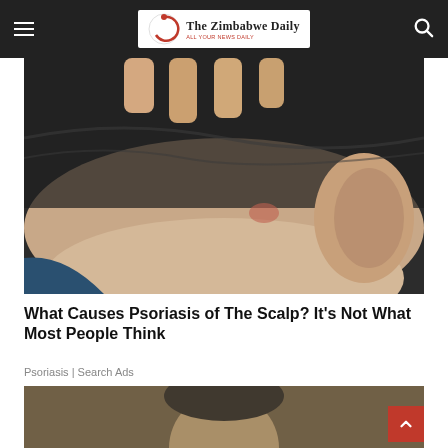The Zimbabwe Daily
[Figure (photo): Close-up photo of the back of a person's head and neck showing scalp psoriasis, with fingers examining the scalp. The person has gray/dark short hair and a visible ear.]
What Causes Psoriasis of The Scalp? It's Not What Most People Think
Psoriasis | Search Ads
[Figure (photo): Partially visible photo of a person, cropped at the bottom of the page.]